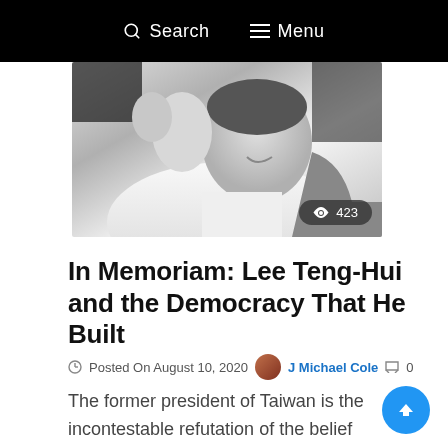Search  Menu
[Figure (photo): Black and white photograph of Lee Teng-Hui, cropped close, showing the figure in light-colored clothing, laughing or smiling, with a view count badge showing 423]
In Memoriam: Lee Teng-Hui and the Democracy That He Built
Posted On August 10, 2020  J Michael Cole  0
The former president of Taiwan is the incontestable refutation of the belief that history is merely an impersonal force, that ...